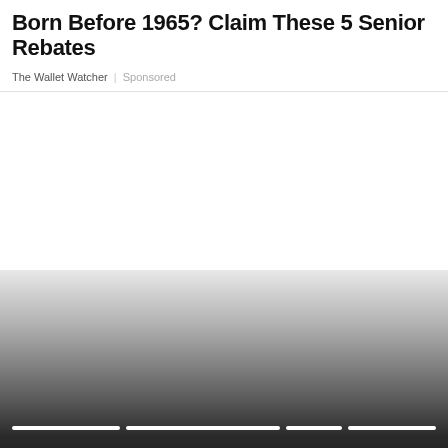Born Before 1965? Claim These 5 Senior Rebates
The Wallet Watcher | Sponsored
[Figure (photo): Large image area, mostly white/blank above a dark gradient rectangle with four white horizontal line segments near the bottom, appearing like a loading or placeholder image]
[Figure (photo): Partial image at the bottom of page, warm brown/golden tones suggesting a lifestyle photo]